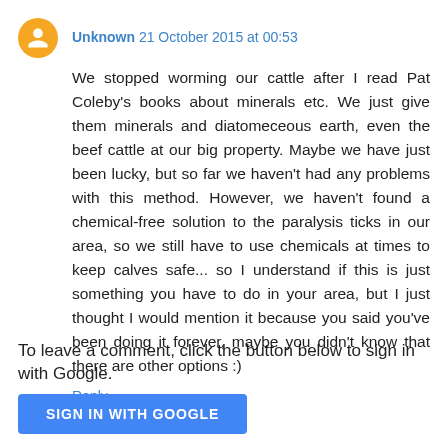Unknown 21 October 2015 at 00:53
We stopped worming our cattle after I read Pat Coleby's books about minerals etc. We just give them minerals and diatomeceous earth, even the beef cattle at our big property. Maybe we have just been lucky, but so far we haven't had any problems with this method. However, we haven't found a chemical-free solution to the paralysis ticks in our area, so we still have to use chemicals at times to keep calves safe... so I understand if this is just something you have to do in your area, but I just thought I would mention it because you said you've been doing it forever, maybe you didn't know that there are other options :)
Reply
To leave a comment, click the button below to sign in with Google.
SIGN IN WITH GOOGLE